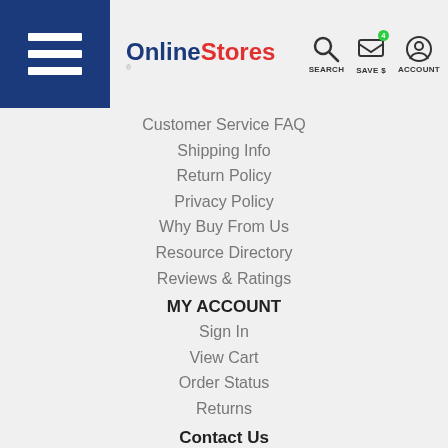[Figure (screenshot): Website header with hamburger menu (dark blue), OnlineStores logo, and icons for SEARCH, SAVE $, ACCOUNT]
Customer Service FAQ
Shipping Info
Return Policy
Privacy Policy
Why Buy From Us
Resource Directory
Reviews & Ratings
MY ACCOUNT
Sign In
View Cart
Order Status
Returns
Contact Us
Online Stores
1000 Westinghouse Drive
Suite 1
New Stanton, PA 15672